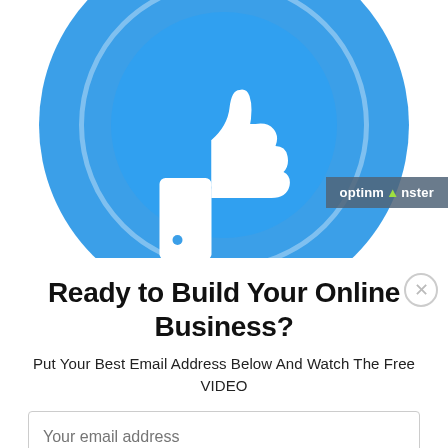[Figure (illustration): Blue circular background with a white thumbs-up (like) icon in the center, and a smaller blue ring inside the large circle. An OptinMonster badge appears in the lower right of the image area.]
Ready to Build Your Online Business?
Put Your Best Email Address Below And Watch The Free VIDEO
Your email address
WATCH THIS NOW!